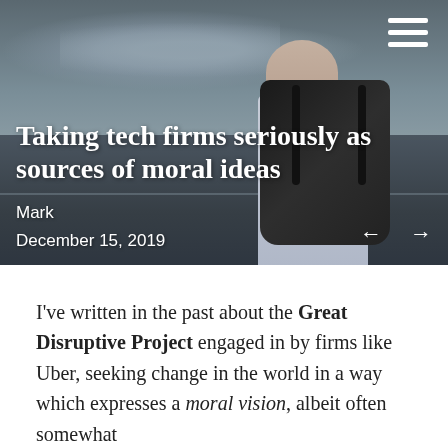[Figure (photo): Hero image of a bald man from behind wearing a backpack, standing by a waterway under a cloudy sky. White text overlay with article title, author, and date.]
Taking tech firms seriously as sources of moral ideas
Mark
December 15, 2019
I've written in the past about the Great Disruptive Project engaged in by firms like Uber, seeking change in the world in a way which expresses a moral vision, albeit often somewhat